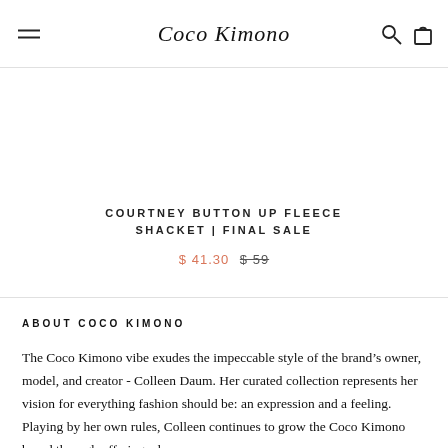Coco Kimono
COURTNEY BUTTON UP FLEECE SHACKET | FINAL SALE
$ 41.30  $ 59
ABOUT COCO KIMONO
The Coco Kimono vibe exudes the impeccable style of the brand’s owner, model, and creator - Colleen Daum. Her curated collection represents her vision for everything fashion should be: an expression and a feeling. Playing by her own rules, Colleen continues to grow the Coco Kimono brand through offering a luxe